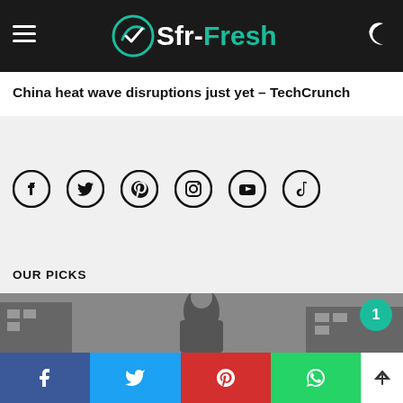Sfr-Fresh
China heat wave disruptions just yet – TechCrunch
[Figure (infographic): Social media icons: Facebook, Twitter, Pinterest, Instagram, YouTube, TikTok]
OUR PICKS
[Figure (photo): Person photographed outdoors, partial face visible from forehead, blurred background]
Social share bar: Facebook, Twitter, Pinterest, WhatsApp, scroll-to-top